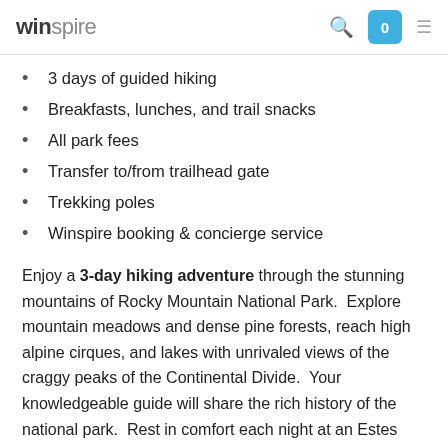winspire
3 days of guided hiking
Breakfasts, lunches, and trail snacks
All park fees
Transfer to/from trailhead gate
Trekking poles
Winspire booking & concierge service
Enjoy a 3-day hiking adventure through the stunning mountains of Rocky Mountain National Park. Explore mountain meadows and dense pine forests, reach high alpine cirques, and lakes with unrivaled views of the craggy peaks of the Continental Divide. Your knowledgeable guide will share the rich history of the national park. Rest in comfort each night at an Estes Park mountain inn with quick access to restaurants and the vibrant mountain culture of downtown Estes